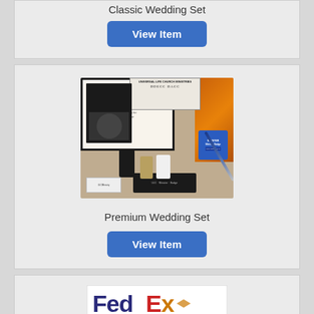Classic Wedding Set
View Item
[Figure (photo): Product collage showing Universal Life Church ministry credentials, certificates, wallet cards, badge, pen, and accessories for Premium Wedding Set]
Premium Wedding Set
View Item
[Figure (photo): FedEx logo with Universal Life Church shipping label underneath]